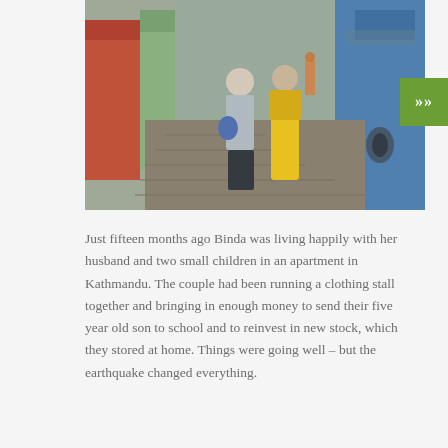[Figure (photo): Two people walking away from the camera down a narrow alley in Kathmandu. One person wears a grey patterned top and carries a blue bag; the other wears a bright yellow sari. Colorful buildings and shops line the stone-paved alley.]
Just fifteen months ago Binda was living happily with her husband and two small children in an apartment in Kathmandu. The couple had been running a clothing stall together and bringing in enough money to send their five year old son to school and to reinvest in new stock, which they stored at home. Things were going well – but the earthquake changed everything.